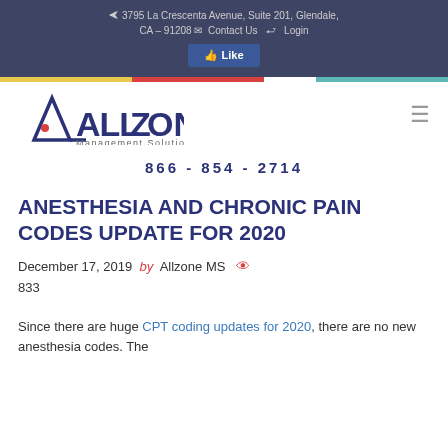9 3795 La Crescenta Avenue, Suite 201, Glendale, CA – 91208  Contact Us  Login
[Figure (logo): Facebook Like button]
[Figure (logo): Allzone Management Solutions logo with stylized A and Z letters]
866 - 854 - 2714
ANESTHESIA AND CHRONIC PAIN CODES UPDATE FOR 2020
December 17, 2019 by Allzone MS 833
Since there are huge CPT coding updates for 2020, there are no new anesthesia codes. The